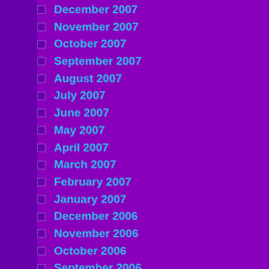December 2007
November 2007
October 2007
September 2007
August 2007
July 2007
June 2007
May 2007
April 2007
March 2007
February 2007
January 2007
December 2006
November 2006
October 2006
September 2006
August 2006
July 2006
June 2006
May 2006
April 2006
March 2006